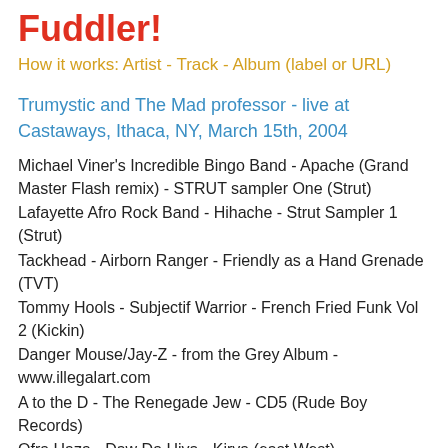Fuddler!
How it works: Artist - Track - Album (label or URL)
Trumystic and The Mad professor - live at Castaways, Ithaca, NY, March 15th, 2004
Michael Viner's Incredible Bingo Band - Apache (Grand Master Flash remix) - STRUT sampler One (Strut)
Lafayette Afro Rock Band - Hihache - Strut Sampler 1 (Strut)
Tackhead - Airborn Ranger - Friendly as a Hand Grenade (TVT)
Tommy Hools - Subjectif Warrior - French Fried Funk Vol 2 (Kickin)
Danger Mouse/Jay-Z - from the Grey Album - www.illegalart.com
A to the D - The Renegade Jew - CD5 (Rude Boy Records)
Ofra Haza - Daw Da Hiya - Kirya (east West)